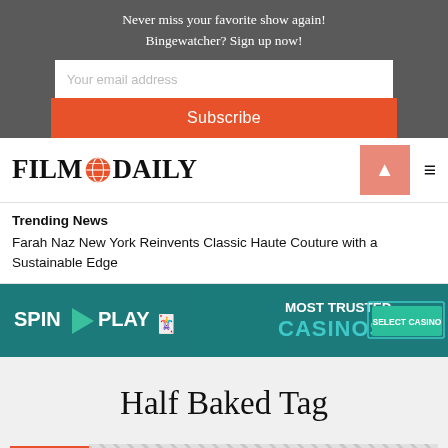Never miss your favorite show again! Bingewatcher? Sign up now!
Your email address
Subscribe
[Figure (logo): FILM DAILY logo with globe icon]
Trending News
Farah Naz New York Reinvents Classic Haute Couture with a Sustainable Edge
[Figure (infographic): SPIN PLAY casino advertisement banner - Most Trusted Casinos, Select Casino button]
Half Baked Tag
Archive